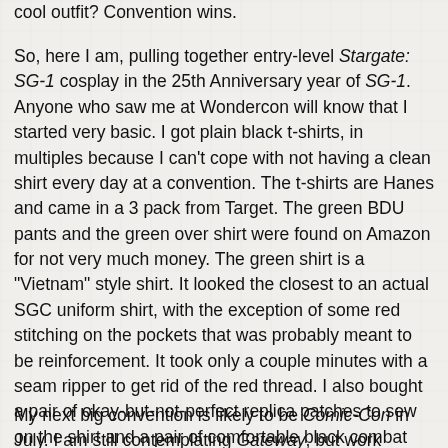cool outfit? Convention wins.
So, here I am, pulling together entry-level Stargate: SG-1 cosplay in the 25th Anniversary year of SG-1. Anyone who saw me at Wondercon will know that I started very basic. I got plain black t-shirts, in multiples because I can't cope with not having a clean shirt every day at a convention. The t-shirts are Hanes and came in a 3 pack from Target. The green BDU pants and the green over shirt were found on Amazon for not very much money. The green shirt is a "Vietnam" style shirt. It looked the closest to an actual SGC uniform shirt, with the exception of some red stitching on the pockets that was probably meant to be reinforcement. It took only a couple minutes with a seam ripper to get rid of the red thread. I also bought a pair of okay-but-not-perfect replica patches to sew on the shirt and a pair of comfortable black combat boots in my size. The boots were the most expensive part of my cosplay, thus far. The last thing I want at any convention is sore feet or blisters.
My next big convention is likely to be Comic-Con in July. I am still contemplating Gateway, but work commitments